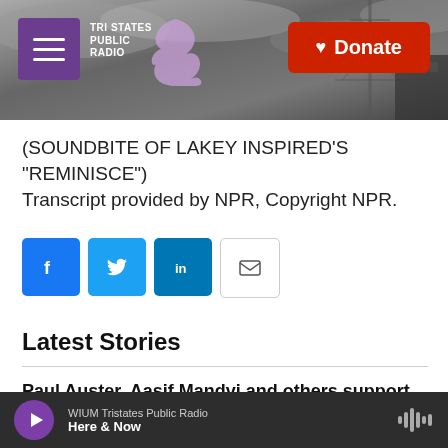[Figure (screenshot): Tri States Public Radio website header with hamburger menu, logo, and red Donate button over a dark cloudy sky background with radio tower]
(SOUNDBITE OF LAKEY INSPIRED'S "REMINISCE")
Transcript provided by NPR, Copyright NPR.
[Figure (infographic): Social share buttons row: Facebook (blue), Twitter (blue), LinkedIn (blue), Email (white/outlined)]
Latest Stories
Paul Auster, Aasif Mandvi and others support Salman
WIUM Tristates Public Radio
Here & Now